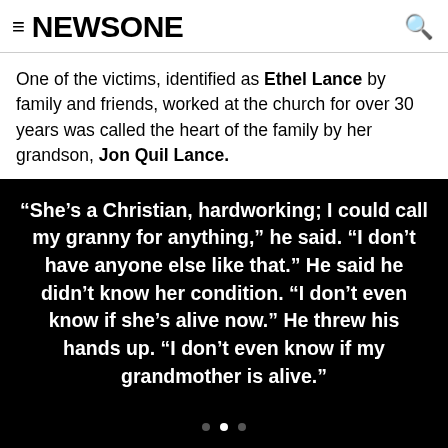NEWSONE
One of the victims, identified as Ethel Lance by family and friends, worked at the church for over 30 years was called the heart of the family by her grandson, Jon Quil Lance.
“She’s a Christian, hardworking; I could call my granny for anything,” he said. “I don’t have anyone else like that.” He said he didn’t know her condition. “I don’t even know if she’s alive now.” He threw his hands up. “I don’t even know if my grandmother is alive.”